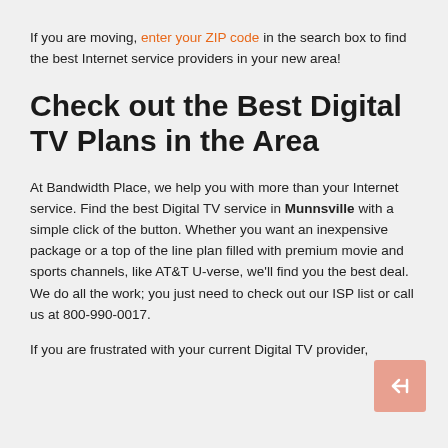If you are moving, enter your ZIP code in the search box to find the best Internet service providers in your new area!
Check out the Best Digital TV Plans in the Area
At Bandwidth Place, we help you with more than your Internet service. Find the best Digital TV service in Munnsville with a simple click of the button. Whether you want an inexpensive package or a top of the line plan filled with premium movie and sports channels, like AT&T U-verse, we'll find you the best deal. We do all the work; you just need to check out our ISP list or call us at 800-990-0017.
If you are frustrated with your current Digital TV provider,